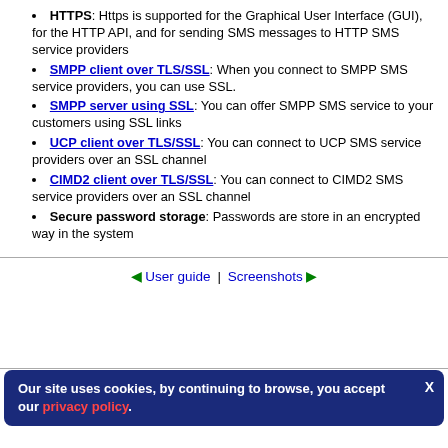HTTPS: Https is supported for the Graphical User Interface (GUI), for the HTTP API, and for sending SMS messages to HTTP SMS service providers
SMPP client over TLS/SSL: When you connect to SMPP SMS service providers, you can use SSL.
SMPP server using SSL: You can offer SMPP SMS service to your customers using SSL links
UCP client over TLS/SSL: You can connect to UCP SMS service providers over an SSL channel
CIMD2 client over TLS/SSL: You can connect to CIMD2 SMS service providers over an SSL channel
Secure password storage: Passwords are store in an encrypted way in the system
◄ User guide | Screenshots ►
Copyright © 2000-2022 | Ozeki Ltd | info@ozeki.hu |
Our site uses cookies, by continuing to browse, you accept our privacy policy.